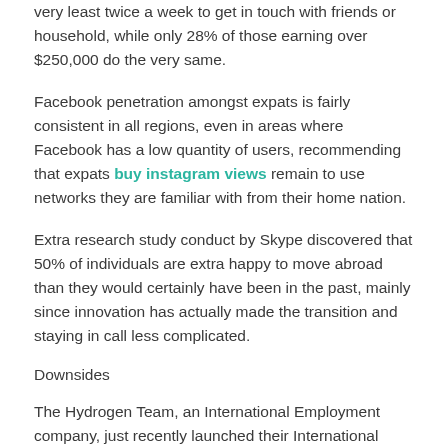very least twice a week to get in touch with friends or household, while only 28% of those earning over $250,000 do the very same.
Facebook penetration amongst expats is fairly consistent in all regions, even in areas where Facebook has a low quantity of users, recommending that expats buy instagram views remain to use networks they are familiar with from their home nation.
Extra research study conduct by Skype discovered that 50% of individuals are extra happy to move abroad than they would certainly have been in the past, mainly since innovation has actually made the transition and staying in call less complicated.
Downsides
The Hydrogen Team, an International Employment company, just recently launched their International